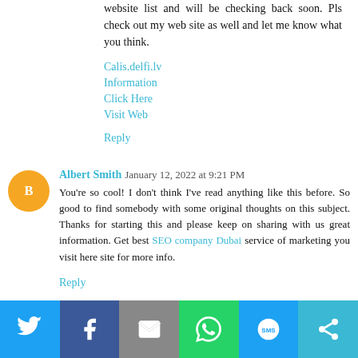website list and will be checking back soon. Pls check out my web site as well and let me know what you think.
Calis.delfi.lv
Information
Click Here
Visit Web
Reply
Albert Smith  January 12, 2022 at 9:21 PM
You're so cool! I don't think I've read anything like this before. So good to find somebody with some original thoughts on this subject. Thanks for starting this and please keep on sharing with us great information. Get best SEO company Dubai service of marketing you visit here site for more info.
Reply
[Figure (infographic): Social sharing bar with icons for Twitter, Facebook, Email, WhatsApp, SMS, and More (share icon)]